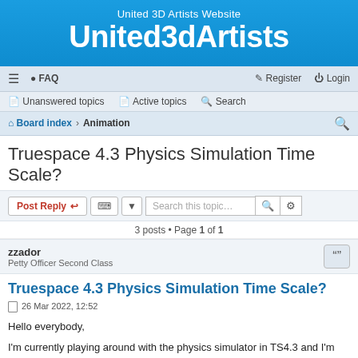United 3D Artists Website
United3dArtists
≡  FAQ    Register  Login
Unanswered topics  Active topics  Search
Board index › Animation
Truespace 4.3 Physics Simulation Time Scale?
Post Reply  [tools]  Search this topic...  3 posts • Page 1 of 1
zzador
Petty Officer Second Class
Truespace 4.3 Physics Simulation Time Scale?
26 Mar 2022, 12:52
Hello everybody,
I'm currently playing around with the physics simulator in TS4.3 and I'm rendering all the simulated animations to disc (*.avi). When watching